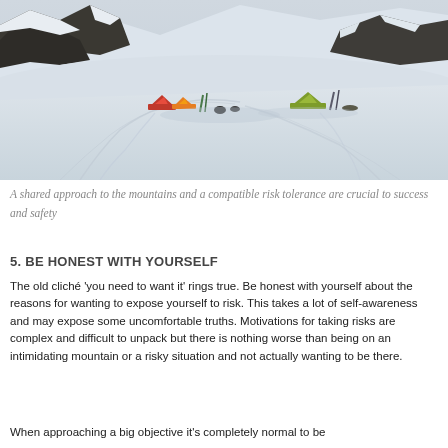[Figure (photo): Mountain base camp scene on snow with colorful tents (red, orange, yellow-green) set up on a snowy plateau, with dark rocky peaks and snow slopes in the background. Ski tracks visible in the snow.]
A shared approach to the mountains and a compatible risk tolerance are crucial to success and safety
5. BE HONEST WITH YOURSELF
The old cliché ‘you need to want it’ rings true. Be honest with yourself about the reasons for wanting to expose yourself to risk. This takes a lot of self-awareness and may expose some uncomfortable truths. Motivations for taking risks are complex and difficult to unpack but there is nothing worse than being on an intimidating mountain or a risky situation and not actually wanting to be there.
When approaching a big objective it’s completely normal to be